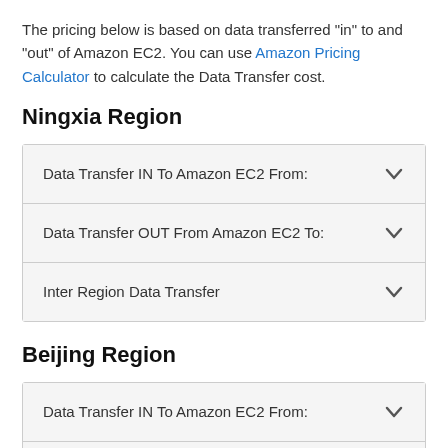The pricing below is based on data transferred "in" to and "out" of Amazon EC2. You can use Amazon Pricing Calculator to calculate the Data Transfer cost.
Ningxia Region
| Item | Action |
| --- | --- |
| Data Transfer IN To Amazon EC2 From: | ▾ |
| Data Transfer OUT From Amazon EC2 To: | ▾ |
| Inter Region Data Transfer | ▾ |
Beijing Region
| Item | Action |
| --- | --- |
| Data Transfer IN To Amazon EC2 From: | ▾ |
| Data Transfer OUT From Amazon EC2 To: | ▾ |